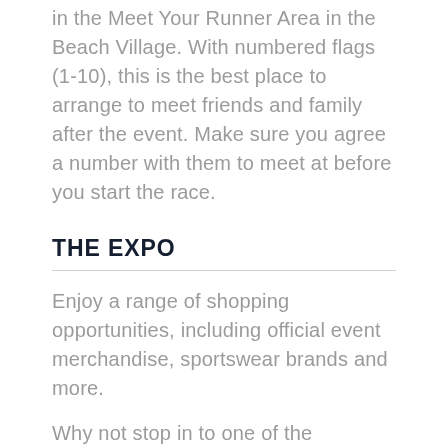BM10K will be able to reunite with loved ones in the Meet Your Runner Area in the Beach Village. With numbered flags (1-10), this is the best place to arrange to meet friends and family after the event. Make sure you agree a number with them to meet at before you start the race.
THE EXPO
Enjoy a range of shopping opportunities, including official event merchandise, sportswear brands and more.
Why not stop in to one of the seminars with the experts, and ask your questions ahead of